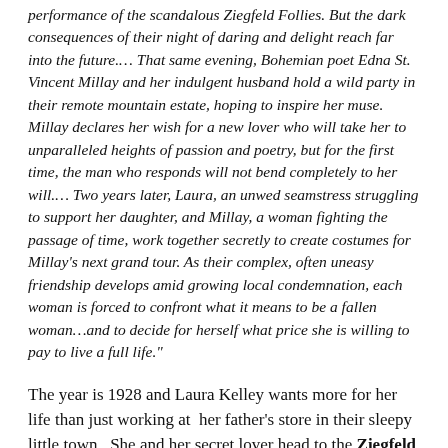performance of the scandalous Ziegfeld Follies. But the dark consequences of their night of daring and delight reach far into the future.… That same evening, Bohemian poet Edna St. Vincent Millay and her indulgent husband hold a wild party in their remote mountain estate, hoping to inspire her muse. Millay declares her wish for a new lover who will take her to unparalleled heights of passion and poetry, but for the first time, the man who responds will not bend completely to her will.… Two years later, Laura, an unwed seamstress struggling to support her daughter, and Millay, a woman fighting the passage of time, work together secretly to create costumes for Millay's next grand tour. As their complex, often uneasy friendship develops amid growing local condemnation, each woman is forced to confront what it means to be a fallen woman…and to decide for herself what price she is willing to pay to live a full life."
The year is 1928 and Laura Kelley wants more for her life than just working at her father's store in their sleepy little town. She and her secret lover head to the Ziegfeld Follies for a scandalous night of drinking, dancing, and having fun. If her father knew what she was really up to, he would be furious. The most exciting night of Laura's life ends up